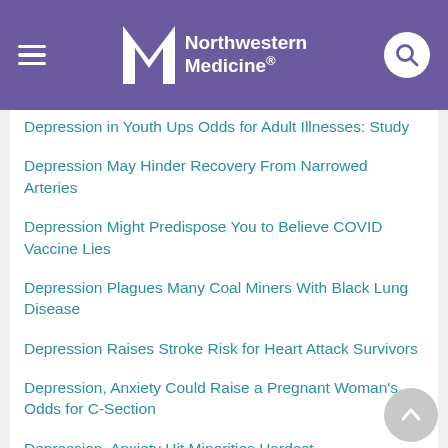Northwestern Medicine
Depression in Youth Ups Odds for Adult Illnesses: Study
Depression May Hinder Recovery From Narrowed Arteries
Depression Might Predispose You to Believe COVID Vaccine Lies
Depression Plagues Many Coal Miners With Black Lung Disease
Depression Raises Stroke Risk for Heart Attack Survivors
Depression, Anxiety Could Raise a Pregnant Woman's Odds for C-Section
Depression, Anxiety Hit Minorities Hardest